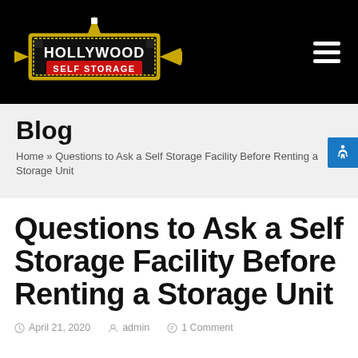[Figure (logo): Hollywood Self Storage logo on black navigation bar with hamburger menu icon]
Blog
Home » Questions to Ask a Self Storage Facility Before Renting a Storage Unit
Questions to Ask a Self Storage Facility Before Renting a Storage Unit
April 21, 2020   admin   1 Comment